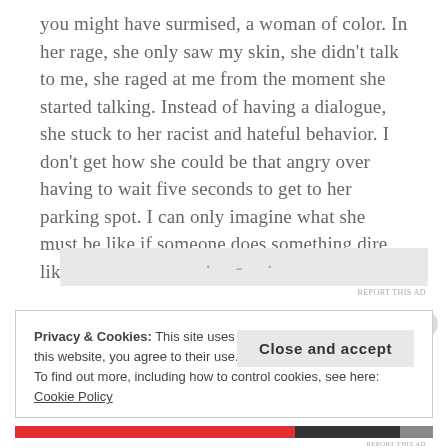you might have surmised, a woman of color. In her rage, she only saw my skin, she didn't talk to me, she raged at me from the moment she started talking. Instead of having a dialogue, she stuck to her racist and hateful behavior. I don't get how she could be that angry over having to wait five seconds to get to her parking spot. I can only imagine what she must be like if someone does something dire, like walk in front of her car.
[Figure (other): Ad placeholder with dots]
Privacy & Cookies: This site uses cookies. By continuing to use this website, you agree to their use. To find out more, including how to control cookies, see here: Cookie Policy
Close and accept